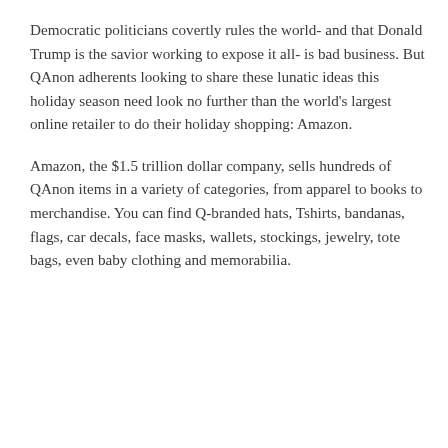Democratic politicians covertly rules the world- and that Donald Trump is the savior working to expose it all- is bad business. But QAnon adherents looking to share these lunatic ideas this holiday season need look no further than the world's largest online retailer to do their holiday shopping: Amazon.
Amazon, the $1.5 trillion dollar company, sells hundreds of QAnon items in a variety of categories, from apparel to books to merchandise. You can find Q-branded hats, Tshirts, bandanas, flags, car decals, face masks, wallets, stockings, jewelry, tote bags, even baby clothing and memorabilia.